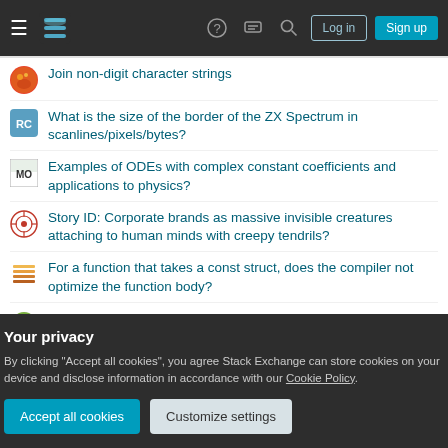Stack Exchange navigation bar with Log in and Sign up buttons
Join non-digit character strings
What is the size of the border of the ZX Spectrum in scanlines/pixels/bytes?
Examples of ODEs with complex constant coefficients and applications to physics?
Story ID: Corporate brands as massive invisible creatures attaching to human minds with creepy tendrils?
For a function that takes a const struct, does the compiler not optimize the function body?
Could an alien civilization discover electricity before fire, if their planet lacked significant oxygen but did hold common storms?
Your privacy
By clicking "Accept all cookies", you agree Stack Exchange can store cookies on your device and disclose information in accordance with our Cookie Policy.
Accept all cookies | Customize settings
Why can't we have hardware-specific graphics APIs?